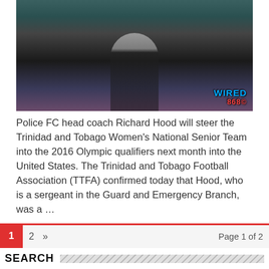[Figure (photo): Sports photo of a coach standing on a field wearing a teal/turquoise jacket, with a watermark reading 'WIRED868' in the bottom right corner]
Police FC head coach Richard Hood will steer the Trinidad and Tobago Women's National Senior Team into the 2016 Olympic qualifiers next month into the United States. The Trinidad and Tobago Football Association (TTFA) confirmed today that Hood, who is a sergeant in the Guard and Emergency Branch, was a …
Read More »
1  2  »  Page 1 of 2
SEARCH